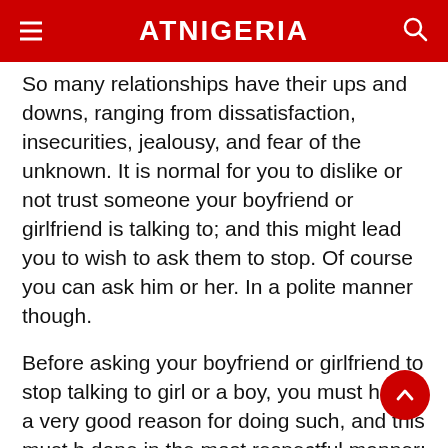ATNIGERIA
So many relationships have their ups and downs, ranging from dissatisfaction, insecurities, jealousy, and fear of the unknown. It is normal for you to dislike or not trust someone your boyfriend or girlfriend is talking to; and this might lead you to wish to ask them to stop. Of course you can ask him or her. In a polite manner though.
Before asking your boyfriend or girlfriend to stop talking to girl or a boy, you must have a very good reason for doing such, and this must be done in the most respectful manner; and you should never ask simply because you are